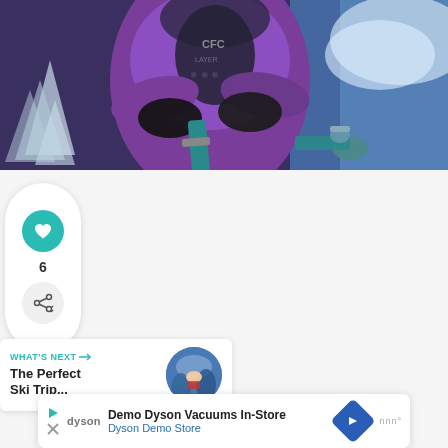[Figure (photo): A person in a purple jacket holding a snowboard with dark gloves, with snow-covered trees in the background on the left and blue sky on the right. Winter mountain scene.]
[Figure (infographic): Social interaction sidebar card with a teal heart/like button, a count of 6, and a share button with a plus icon]
6
WHAT'S NEXT → The Perfect Ski Trip...
[Figure (photo): Small circular thumbnail showing a mountain ski scene used as a 'What's Next' preview image]
[Figure (infographic): Three pagination dots in a row]
Demo Dyson Vacuums In-Store
Dyson Demo Store